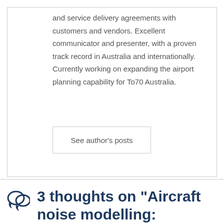and service delivery agreements with customers and vendors. Excellent communicator and presenter, with a proven track record in Australia and internationally. Currently working on expanding the airport planning capability for To70 Australia.
See author's posts
3 thoughts on “Aircraft noise modelling: migrating INM to AEDT”